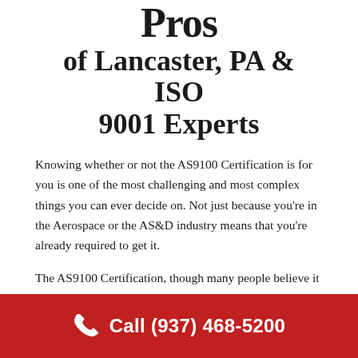Pros of Lancaster, PA & ISO 9001 Experts
Knowing whether or not the AS9100 Certification is for you is one of the most challenging and most complex things you can ever decide on. Not just because you're in the Aerospace or the AS&D industry means that you're already required to get it.
The AS9100 Certification, though many people believe it to be a requirement or a prerequisite, has been designed and developed for businesses and organizations in the AS&D Industry. However, it's not only applicable and eligible for businesses and companies in that particular industry – it can be applied to other sectors and industries, too.
Call (937) 468-5200